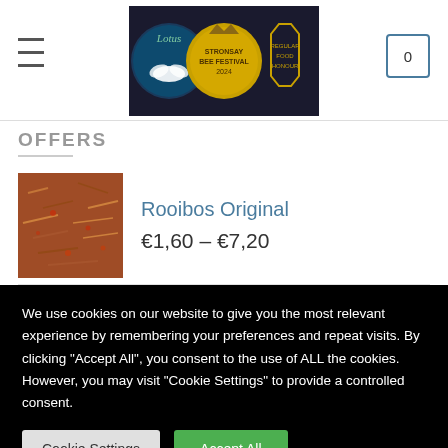[Figure (logo): Website logo with three circular/badge icons on dark background]
OFFERS
[Figure (photo): Rooibos tea leaves close-up, reddish-orange color]
Rooibos Original
€1,60 – €7,20
We use cookies on our website to give you the most relevant experience by remembering your preferences and repeat visits. By clicking "Accept All", you consent to the use of ALL the cookies. However, you may visit "Cookie Settings" to provide a controlled consent.
Cookie Settings
Accept All
English (UK)